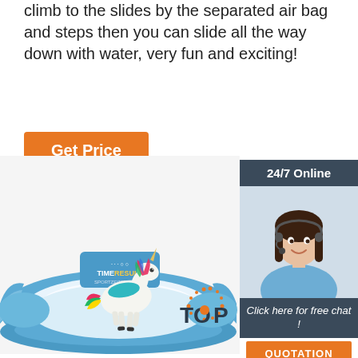climb to the slides by the separated air bag and steps then you can slide all the way down with water, very fun and exciting!
Get Price
[Figure (illustration): Sidebar panel with '24/7 Online' header, photo of a smiling woman with headset, 'Click here for free chat!' text, and QUOTATION button]
[Figure (photo): Inflatable unicorn mechanical ride inside a circular blue inflatable arena, with TimeResult logo sign in background]
[Figure (logo): TOP logo with dotted circle, orange and dark text]